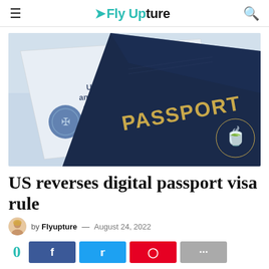Fly Upture
[Figure (photo): A US passport book overlapping a US Citizenship and Immigration Services document, photographed at an angle on a light surface.]
US reverses digital passport visa rule
by Flyupture — August 24, 2022